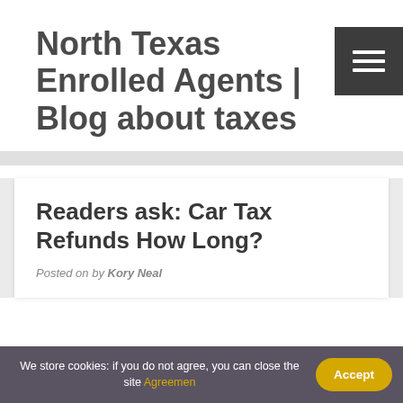North Texas Enrolled Agents | Blog about taxes
Readers ask: Car Tax Refunds How Long?
Posted on by Kory Neal
We store cookies: if you do not agree, you can close the site Agreemen Accept